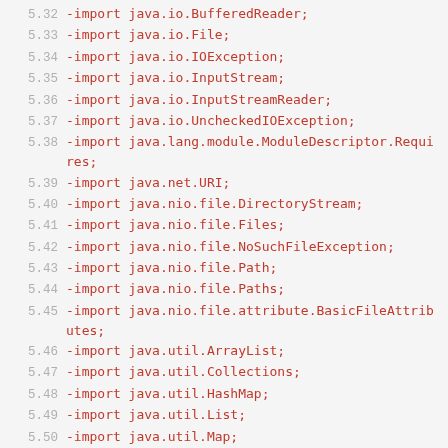5.32 -import java.io.BufferedReader;
5.33 -import java.io.File;
5.34 -import java.io.IOException;
5.35 -import java.io.InputStream;
5.36 -import java.io.InputStreamReader;
5.37 -import java.io.UncheckedIOException;
5.38 -import java.lang.module.ModuleDescriptor.Requires;
5.39 -import java.net.URI;
5.40 -import java.nio.file.DirectoryStream;
5.41 -import java.nio.file.Files;
5.42 -import java.nio.file.NoSuchFileException;
5.43 -import java.nio.file.Path;
5.44 -import java.nio.file.Paths;
5.45 -import java.nio.file.attribute.BasicFileAttributes;
5.46 -import java.util.ArrayList;
5.47 -import java.util.Collections;
5.48 -import java.util.HashMap;
5.49 -import java.util.List;
5.50 -import java.util.Map;
5.51 -import java.util.Objects;
5.52 -import java.util.Optional;
5.53 -import java.util.Set;